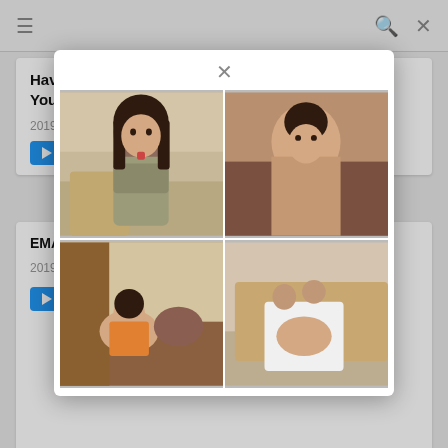≡  🔍  ✕
Have A Technique And Experience Value To The Younger Sister With A Han...
2019-05-13
Play Trailer
EMA... Tall M... SEX...
2019...
Play
[Figure (screenshot): Modal popup with close button (×) showing a 2×2 grid of four thumbnail images]